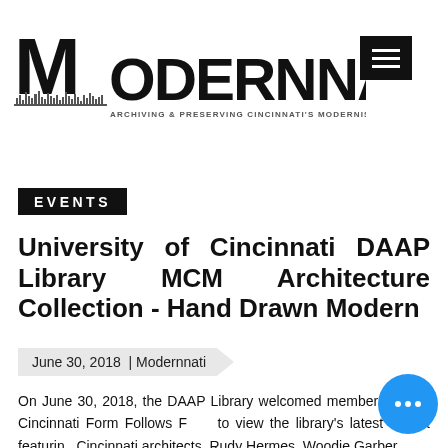[Figure (logo): Modernnati logo with cityscape silhouette and tagline: ARCHIVING & PRESERVING CINCINNATI'S MODERNIST ARCHITECTURE]
EVENTS
University of Cincinnati DAAP Library MCM Architecture Collection - Hand Drawn Modern
June 30, 2018  | Modernnati
On June 30, 2018, the DAAP Library welcomed members of cf3, Cincinnati Form Follows F… to view the library's latest exhibit featuring Cincinnati architects, Rudy Hermes, Woodie Garber,